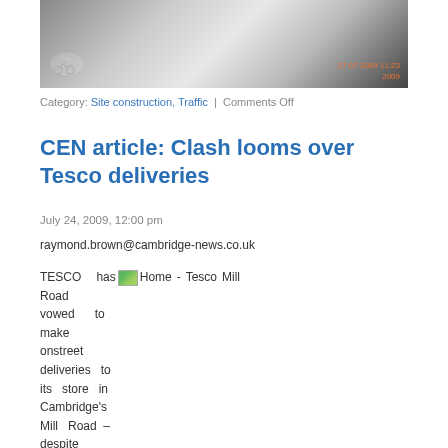[Figure (photo): Photo of construction site with white boards/panels, timestamp 27.07.2009 11:23 2009, Cyclestreets logo bottom left]
Category: Site construction, Traffic | Comments Off
CEN article: Clash looms over Tesco deliveries
July 24, 2009, 12:00 pm
raymond.brown@cambridge-news.co.uk
TESCO has [Home - Tesco Mill Road] vowed to make onstreet deliveries to its store in Cambridge's Mill Road – despite warnings they could